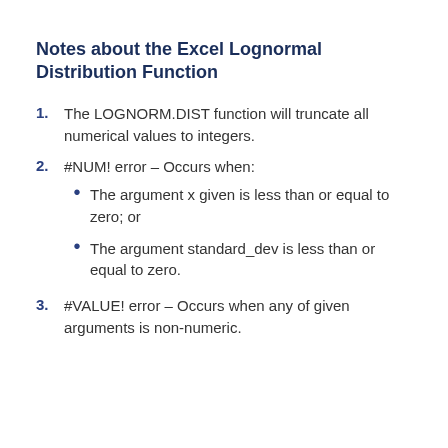Notes about the Excel Lognormal Distribution Function
The LOGNORM.DIST function will truncate all numerical values to integers.
#NUM! error – Occurs when:
The argument x given is less than or equal to zero; or
The argument standard_dev is less than or equal to zero.
#VALUE! error – Occurs when any of given arguments is non-numeric.